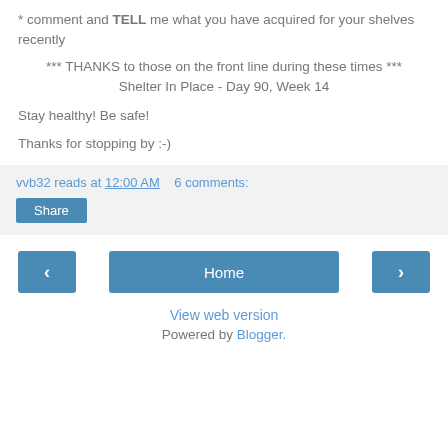* comment and TELL me what you have acquired for your shelves recently
*** THANKS to those on the front line during these times *** Shelter In Place - Day 90, Week 14
Stay healthy! Be safe!
Thanks for stopping by :-)
vvb32 reads at 12:00 AM   6 comments:
Share
Home
View web version
Powered by Blogger.